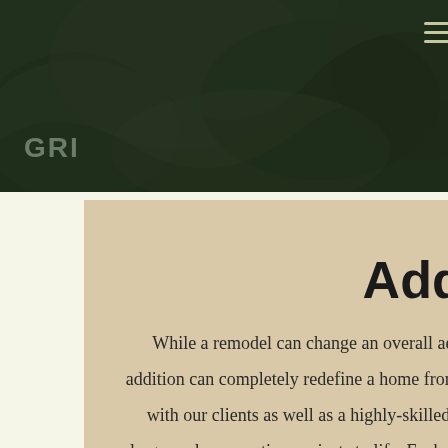[Figure (photo): Dark green header background with subtle leaf/nature texture pattern. GRI logo text in bottom left, hamburger menu icon in top right.]
the Addition
While a remodel can change an overall aesthetic, or revive an outdated concept, a home addition can completely redefine a home from the ground up. Here at Green Builders, we work with our clients as well as a highly-skilled team of engineers and architects to bring these large-scale renovation projects to life. Each addition project we do is a completely unique and custom solution to your home's needs. Below